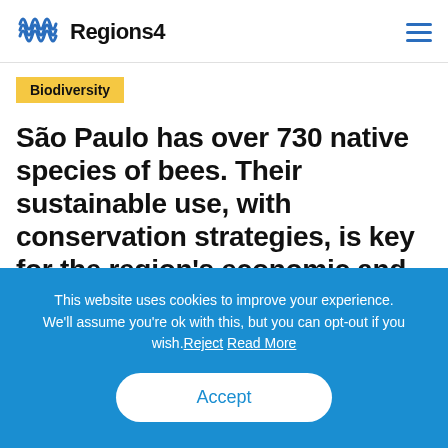Regions4
Biodiversity
São Paulo has over 730 native species of bees. Their sustainable use, with conservation strategies, is key for the region's economic and environmental success
This website uses cookies to improve your experience. We'll assume you're ok with this, but you can opt-out if you wish. Reject Read More
Accept